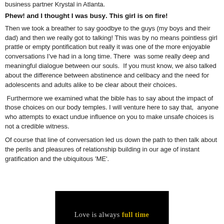business partner Krystal in Atlanta.
Phew! and I thought I was busy. This girl is on fire!
Then we took a breather to say goodbye to the guys (my boys and their dad) and then we really got to talking! This was by no means pointless girl prattle or empty pontification but really it was one of the more enjoyable conversations I've had in a long time. There  was some really deep and meaningful dialogue between our souls.  If you must know, we also talked about the difference between abstinence and celibacy and the need for adolescents and adults alike to be clear about their choices.
Furthermore we examined what the bible has to say about the impact of those choices on our body temples. I will venture here to say that,  anyone who attempts to exact undue influence on you to make unsafe choices is not a credible witness.
Of course that line of conversation led us down the path to then talk about the perils and pleasures of relationship building in our age of instant gratification and the ubiquitous 'ME'.
[Figure (photo): Dark background image with text reading 'Love is always full time' where 'full time' appears in gold/yellow color]